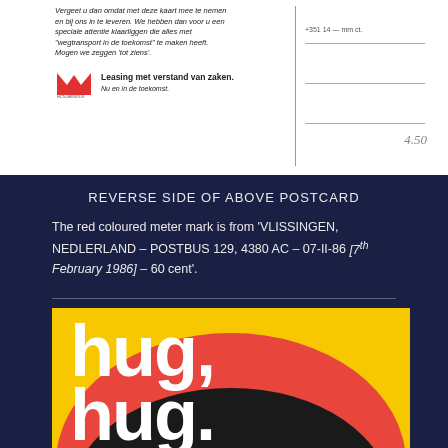[Figure (photo): Reverse side of a postcard showing Dutch text on left side with HCN-Menden logo and slogan 'Leasing met verstand van zaken. Nu en in de toekomst.' Right side has address lines and handwritten '4.50']
REVERSE SIDE OF ABOVE POSTCARD
The red coloured meter mark is from 'VLISSINGEN, NEDLERLAND – POSTBUS 129, 4380 AC – 07-II-86 [7th February 1986] – 60 cent'.
[Figure (photo): Colorful postcard with bold white text 'hug, hug.' on a yellow background with red and black circular shapes]